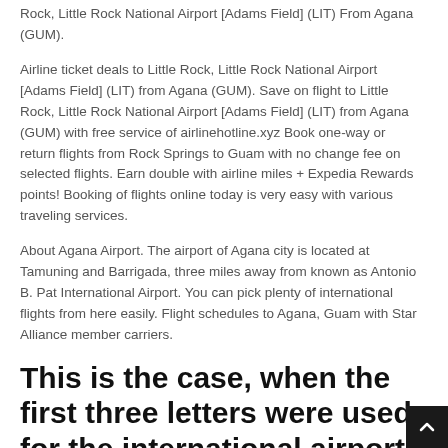Rock, Little Rock National Airport [Adams Field] (LIT) From Agana (GUM).
Airline ticket deals to Little Rock, Little Rock National Airport [Adams Field] (LIT) from Agana (GUM). Save on flight to Little Rock, Little Rock National Airport [Adams Field] (LIT) from Agana (GUM) with free service of airlinehotline.xyz Book one-way or return flights from Rock Springs to Guam with no change fee on selected flights. Earn double with airline miles + Expedia Rewards points! Booking of flights online today is very easy with various traveling services.
About Agana Airport. The airport of Agana city is located at Tamuning and Barrigada, three miles away from known as Antonio B. Pat International Airport. You can pick plenty of international flights from here easily. Flight schedules to Agana, Guam with Star Alliance member carriers.
This is the case, when the first three letters were used for the international airport codes.